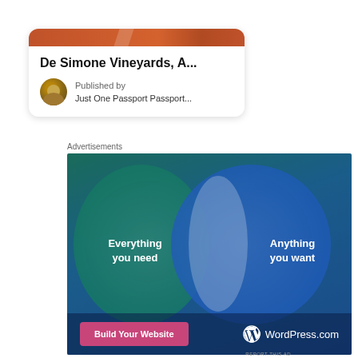[Figure (screenshot): Card with orange image strip at top, bold title 'De Simone Vineyards, A...', avatar circle image, and published by text 'Just One Passport Passport...']
De Simone Vineyards, A...
Published by
Just One Passport Passport...
Advertisements
[Figure (infographic): WordPress.com advertisement with a Venn diagram: two overlapping circles on dark blue-green background. Left circle (teal) says 'Everything you need', right circle (blue) says 'Anything you want'. Bottom bar has pink 'Build Your Website' button and WordPress.com logo.]